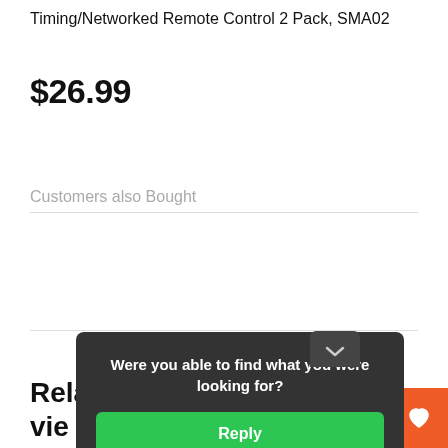Timing/Networked Remote Control 2 Pack, SMA02
$26.99
Customers also Bought
Were you able to find what you were looking for?
Reply
Rela view